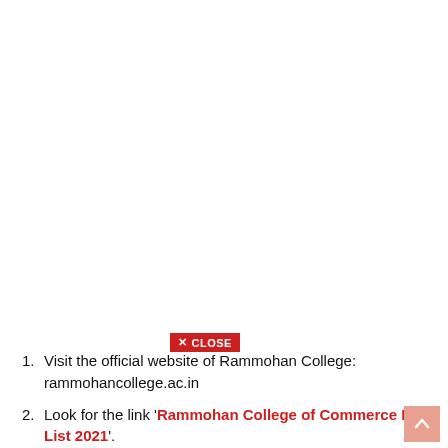[Figure (screenshot): Red close button with X icon and CLOSE text]
Visit the official website of Rammohan College: rammohancollege.ac.in
Look for the link 'Rammohan College of Commerce Merit List 2021'.